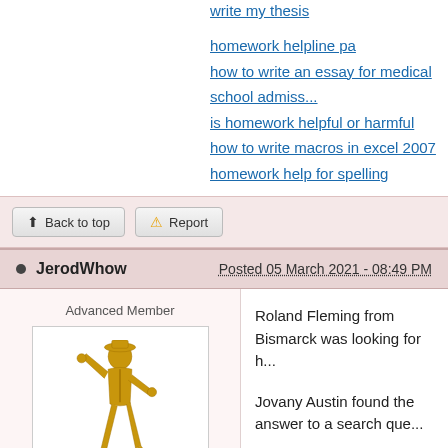write my thesis
homework helpline pa
how to write an essay for medical school admiss...
is homework helpful or harmful
how to write macros in excel 2007
homework help for spelling
Back to top  Report
JerodWhow  Posted 05 March 2021 - 08:49 PM
Advanced Member
[Figure (illustration): Golden Michael Jackson-style dancing figure avatar]
Members
82,729 posts
Roland Fleming from Bismarck was looking for h...
Jovany Austin found the answer to a search que...